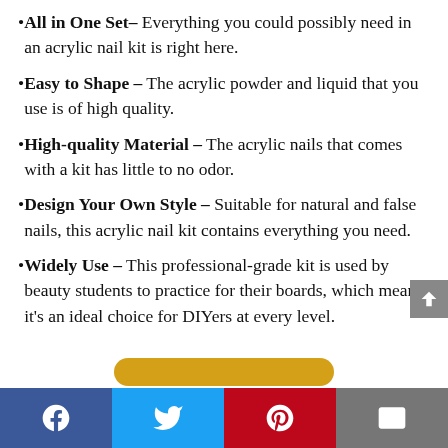All in One Set– Everything you could possibly need in an acrylic nail kit is right here.
Easy to Shape – The acrylic powder and liquid that you use is of high quality.
High-quality Material – The acrylic nails that comes with a kit has little to no odor.
Design Your Own Style – Suitable for natural and false nails, this acrylic nail kit contains everything you need.
Widely Use – This professional-grade kit is used by beauty students to practice for their boards, which means it's an ideal choice for DIYers at every level.
Facebook | Twitter | Pinterest | Email